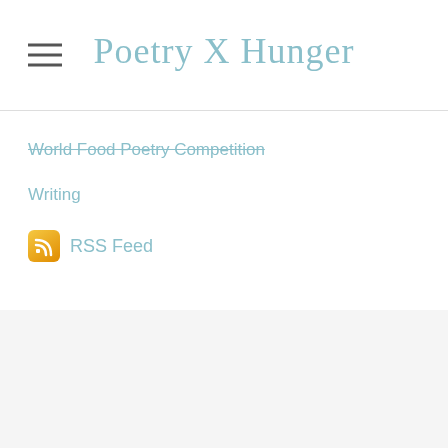Poetry X Hunger
World Food Poetry Competition
Writing
RSS Feed